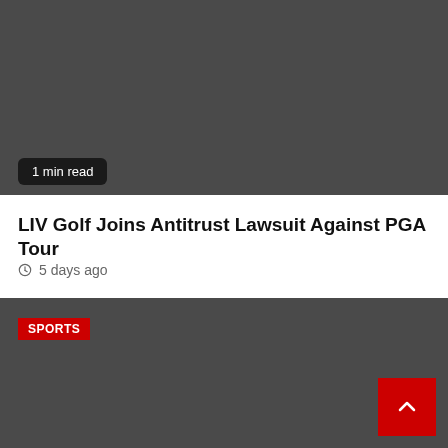[Figure (photo): Dark gray placeholder image area at top of page]
1 min read
LIV Golf Joins Antitrust Lawsuit Against PGA Tour
5 days ago
[Figure (photo): Dark gray placeholder image area for sports article with SPORTS category badge]
SPORTS